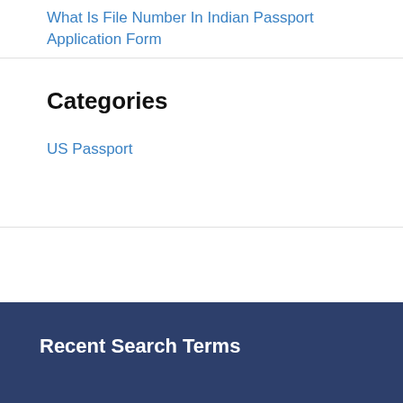What Is File Number In Indian Passport Application Form
Categories
US Passport
Recent Search Terms